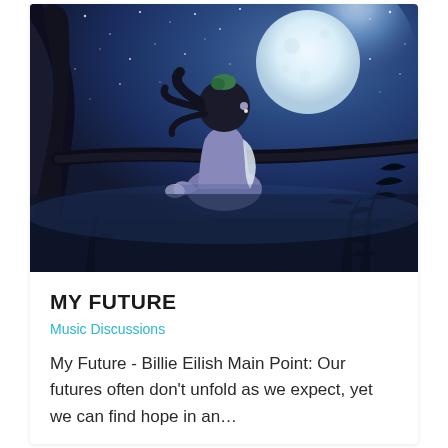[Figure (illustration): Anime-style illustration of a girl with dark hair and green tips sitting on a tree branch, viewed from behind, gazing at a large full moon in a dark blue starry night sky. Plants and foliage silhouettes in the foreground.]
MY FUTURE
Music Discussions
My Future - Billie Eilish Main Point: Our futures often don't unfold as we expect, yet we can find hope in an…